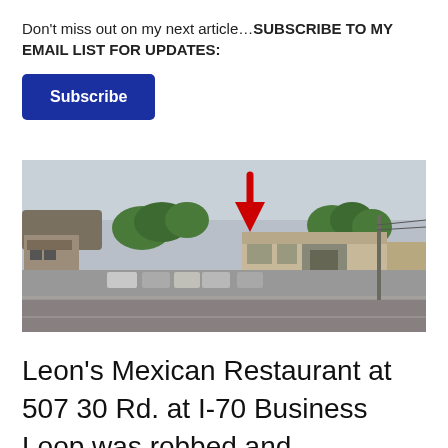Don't miss out on my next article…SUBSCRIBE TO MY EMAIL LIST FOR UPDATES:
Subscribe
[Figure (photo): Street-level photo of Leon's Mexican Restaurant at 507 30 Rd at I-70 Business Loop, a low-rise commercial building with a parking lot in front. A red arrow points to the building entrance.]
Leon's Mexican Restaurant at 507 30 Rd. at I-70 Business Loop was robbed and vandalized sometime between closing last Wednesday night 10/18